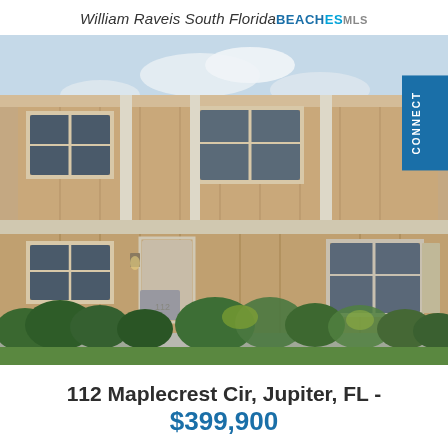William Raveis South Florida BEACHES MLS
[Figure (photo): Exterior photo of a two-story tan/brown wood-sided townhouse or condo building with white trim, multiple windows, a front door with lantern light fixture, and lush green shrubs in the foreground. Blue sky with clouds visible above.]
112 Maplecrest Cir, Jupiter, FL - $399,900